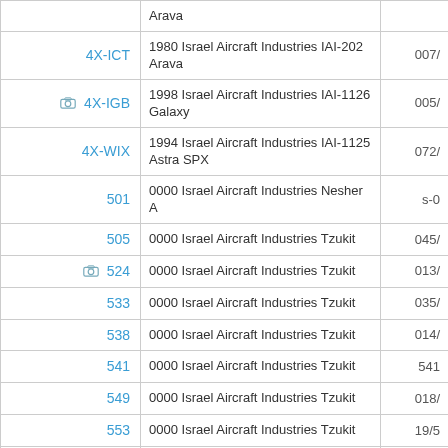| Registration | Description | Code |
| --- | --- | --- |
|  | Arava |  |
| 4X-ICT | 1980 Israel Aircraft Industries IAI-202 Arava | 007... |
| 4X-IGB | 1998 Israel Aircraft Industries IAI-1126 Galaxy | 005... |
| 4X-WIX | 1994 Israel Aircraft Industries IAI-1125 Astra SPX | 072... |
| 501 | 0000 Israel Aircraft Industries Nesher A | s-0... |
| 505 | 0000 Israel Aircraft Industries Tzukit | 045/... |
| 524 | 0000 Israel Aircraft Industries Tzukit | 013/... |
| 533 | 0000 Israel Aircraft Industries Tzukit | 035/... |
| 538 | 0000 Israel Aircraft Industries Tzukit | 014/... |
| 541 | 0000 Israel Aircraft Industries Tzukit | 541... |
| 549 | 0000 Israel Aircraft Industries Tzukit | 018/... |
| 553 | 0000 Israel Aircraft Industries Tzukit | 19/5... |
| 558 | 0000 Israel Aircraft Industries Tzukit | 43/5... |
| 5902 | 0000 Israel Aircraft Industries Mig-21- | 590... |